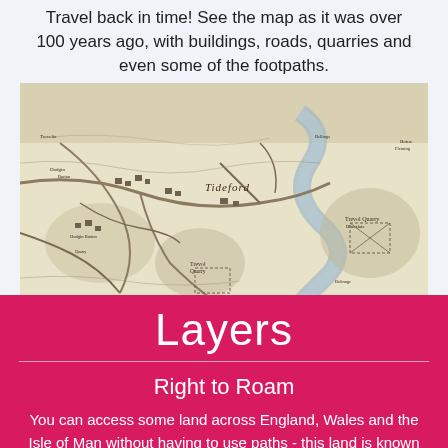Travel back in time! See the map as it was over 100 years ago, with buildings, roads, quarries and even some of the footpaths.
[Figure (map): Historical topographic map of Tideford area showing buildings, roads, quarries and footpaths from over 100 years ago. The map shows the village of Tideford with surrounding land features in sepia/cream tones.]
Layers
Right to Roam
You can access some land across England, Wales and the Isle of Man without having to use paths - this land is known as 'open access land'. This includes mountains, moors, heaths and downs that are privately owned. It also includes common land registered with the local council